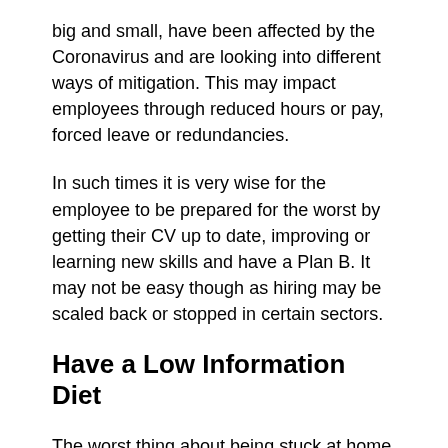big and small, have been affected by the Coronavirus and are looking into different ways of mitigation. This may impact employees through reduced hours or pay, forced leave or redundancies.
In such times it is very wise for the employee to be prepared for the worst by getting their CV up to date, improving or learning new skills and have a Plan B. It may not be easy though as hiring may be scaled back or stopped in certain sectors.
Have a Low Information Diet
The worst thing about being stuck at home is that you will probably end up watching/ reading a lot of the news which ends up making you even more depressed. For investors, too much bad financial news may cause one to act